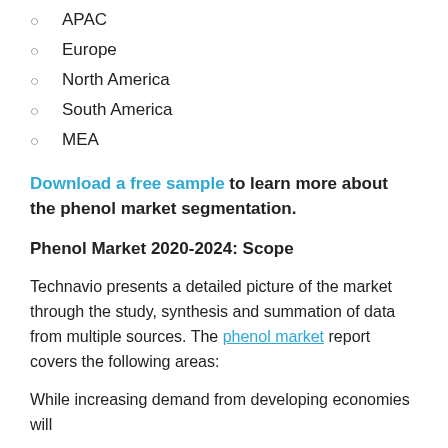APAC
Europe
North America
South America
MEA
Download a free sample to learn more about the phenol market segmentation.
Phenol Market 2020-2024: Scope
Technavio presents a detailed picture of the market through the study, synthesis and summation of data from multiple sources. The phenol market report covers the following areas:
While increasing demand from developing economies will